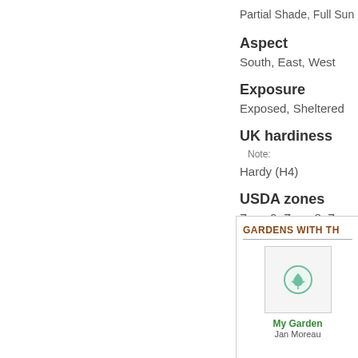Partial Shade, Full Sun
Aspect
South, East, West
Exposure
Exposed, Sheltered
UK hardiness
Note:
Hardy (H4)
USDA zones
Zone 9, Zone 8, Zone 7, Z
GARDENS WITH TH
[Figure (illustration): Placeholder garden image with a green compass/plant icon]
My Garden
Jan Moreau